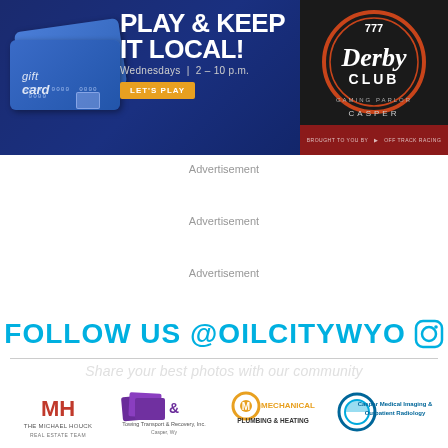[Figure (infographic): Banner advertisement for 777 Derby Club Gaming Parlor. Dark blue background with gift cards on the left, text 'PLAY & KEEP IT LOCAL! Wednesdays | 2-10 p.m.' in center, LET'S PLAY orange button, and Derby Club Casper logo on the right. Brought to you by Off Track Racing.]
Advertisement
Advertisement
Advertisement
FOLLOW US @OILCITYWYO
Share your best photos with our community
[Figure (logo): The Michael Houck Real Estate Team logo]
[Figure (logo): Rowing Transport & Recovery Inc. Casper WY logo]
[Figure (logo): Mechanical Plumbing & Heating logo]
[Figure (logo): Casper Medical Imaging & Outpatient Radiology logo]